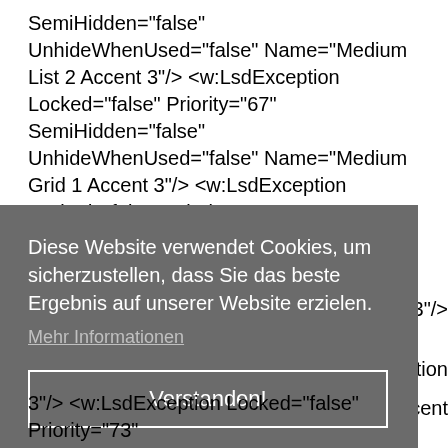SemiHidden="false" UnhideWhenUsed="false" Name="Medium List 2 Accent 3"/> <w:LsdException Locked="false" Priority="67" SemiHidden="false" UnhideWhenUsed="false" Name="Medium Grid 1 Accent 3"/> <w:LsdException Locked="false" Priority="68" SemiHidden="false" UnhideWhenUsed="false" Name="Medium Grid 2 Accent 3"/> <w:LsdException Locked="false" Priority="69" SemiHidden="false"
[Figure (screenshot): Cookie consent overlay banner in German, with text 'Diese Website verwendet Cookies, um sicherzustellen, dass Sie das beste Ergebnis auf unserer Website erzielen.' and a link 'Mehr Informationen' and a button 'Verstanden!']
3"/> <w:LsdException Locked="false" Priority="73"